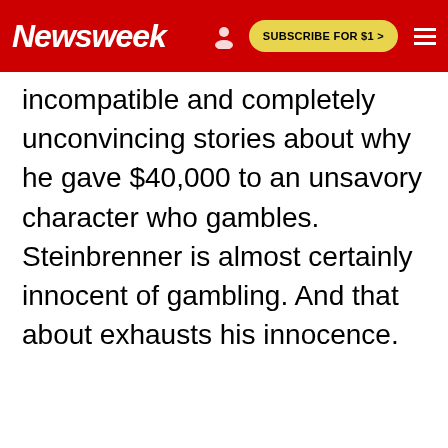Newsweek | SUBSCRIBE FOR $1 >
incompatible and completely unconvincing stories about why he gave $40,000 to an unsavory character who gambles. Steinbrenner is almost certainly innocent of gambling. And that about exhausts his innocence.